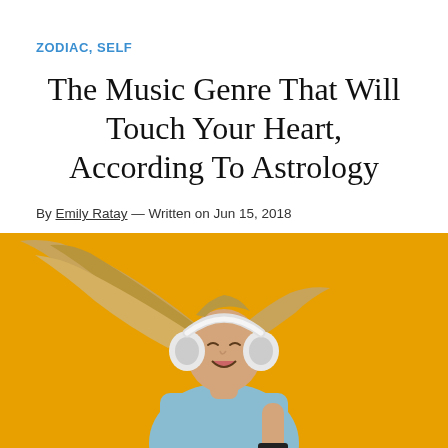ZODIAC, SELF
The Music Genre That Will Touch Your Heart, According To Astrology
By Emily Ratay — Written on Jun 15, 2018
[Figure (photo): Woman with long flowing hair wearing white headphones and a light blue top, joyfully dancing against a bright yellow/golden background, holding a phone]